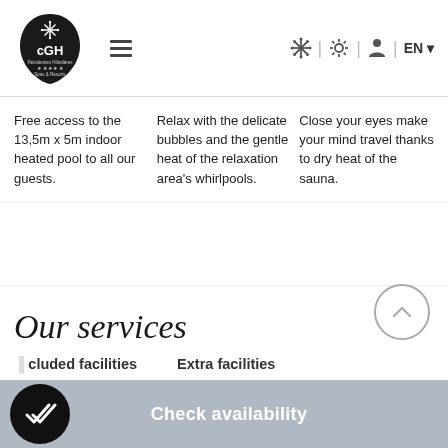[Figure (logo): CGH Résidences & Hôtels Spas & Resorts logo - teardrop/leaf shaped black logo with snowflake design and stars]
Free access to the 13,5m x 5m indoor heated pool to all our guests.
Relax with the delicate bubbles and the gentle heat of the relaxation area's whirlpools.
Close your eyes make your mind travel thanks to dry heat of the sauna.
Our services
cluded facilities
Extra facilities
Check availability